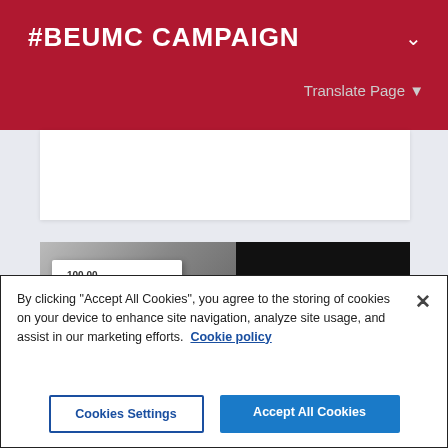#BEUMC CAMPAIGN
Translate Page ▼
MORE
[Figure (photo): Promotional image with a check/payment on the left side and text 'GENEROUS PEOPLE' on the right side with dark background]
By clicking "Accept All Cookies", you agree to the storing of cookies on your device to enhance site navigation, analyze site usage, and assist in our marketing efforts. Cookie policy